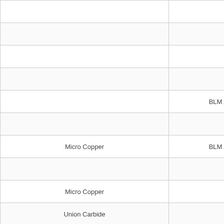| [cut off] | [Name] | [Type] |
| --- | --- | --- |
|  |  |  |
|  |  | U |
|  |  |  |
|  |  |  |
|  |  | BLM Adm |
|  |  | U |
|  | Micro Copper | BLM Adm |
|  |  |  |
|  | Micro Copper |  |
|  | Union Carbide |  |
|  |  | U |
|  | Claxton, W. O. And Aso | BLM Adm |